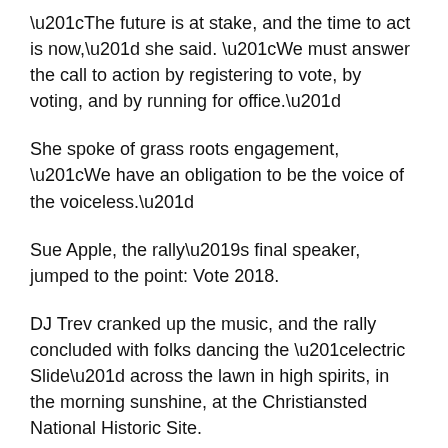“The future is at stake, and the time to act is now,” she said. “We must answer the call to action by registering to vote, by voting, and by running for office.”
She spoke of grass roots engagement, “We have an obligation to be the voice of the voiceless.”
Sue Apple, the rally’s final speaker, jumped to the point: Vote 2018.
DJ Trev cranked up the music, and the rally concluded with folks dancing the “electric Slide” across the lawn in high spirits, in the morning sunshine, at the Christiansted National Historic Site.
Kay Christiansen had a large hand in planning the event and felt it was very successful.